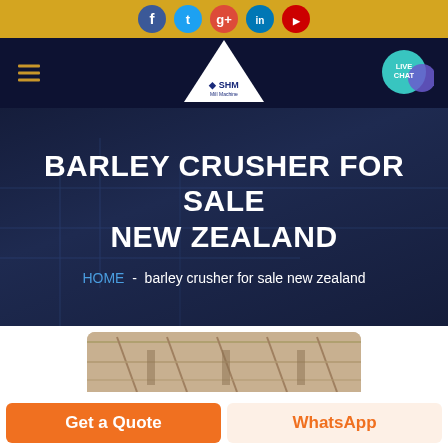Social media icons bar: Facebook, Twitter, Google+, LinkedIn, YouTube
[Figure (screenshot): Navigation bar with hamburger menu icon on left, SHM logo in center (white triangle shape with diamond logo), and LIVE CHAT teal badge with speech bubble on right]
BARLEY CRUSHER FOR SALE NEW ZEALAND
HOME - barley crusher for sale new zealand
[Figure (photo): Industrial factory interior with metal roof trusses and girders, sepia/warm toned photograph partially visible at bottom of hero section]
Get a Quote
WhatsApp